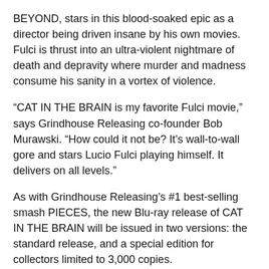BEYOND, stars in this blood-soaked epic as a director being driven insane by his own movies. Fulci is thrust into an ultra-violent nightmare of death and depravity where murder and madness consume his sanity in a vortex of violence.
“CAT IN THE BRAIN is my favorite Fulci movie,” says Grindhouse Releasing co-founder Bob Murawski. “How could it not be? It’s wall-to-wall gore and stars Lucio Fulci playing himself. It delivers on all levels.”
As with Grindhouse Releasing’s #1 best-selling smash PIECES, the new Blu-ray release of CAT IN THE BRAIN will be issued in two versions: the standard release, and a special edition for collectors limited to 3,000 copies.
The limited version of the CAT IN THE BRAIN Blu-ray includes a glow-in-the-dark slipcover and an original portrait of Lucio Fulci created especially for this release.